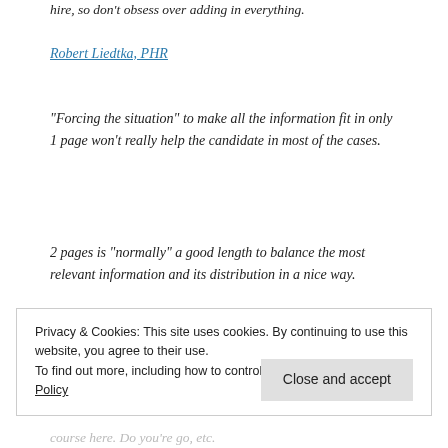hire, so don't obsess over adding in everything.
Robert Liedtka, PHR
“Forcing the situation” to make all the information fit in only 1 page won’t really help the candidate in most of the cases.
2 pages is “normally” a good length to balance the most relevant information and its distribution in a nice way.
Privacy & Cookies: This site uses cookies. By continuing to use this website, you agree to their use.
To find out more, including how to control cookies, see here: Cookie Policy
Close and accept
course here. Do you're go, etc.